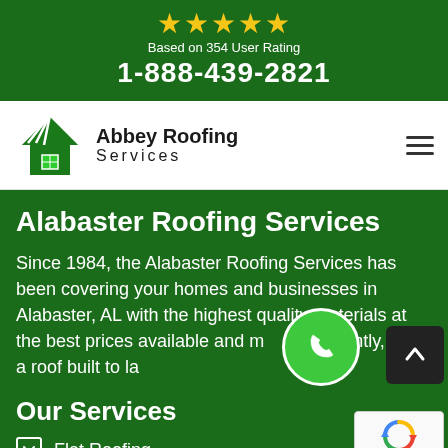[Figure (infographic): Five gold stars rating graphic at top of banner]
Based on 354 User Rating
1-888-439-2821
[Figure (logo): Abbey Roofing Services logo with green roof/house icon and company name]
Alabaster Roofing Services
Since 1984, the Alabaster Roofing Services has been covering your homes and businesses in Alabaster, AL with the highest quality materials at the best prices available and most importantly, with a roof built to last.
Our Services
Flat Roofing